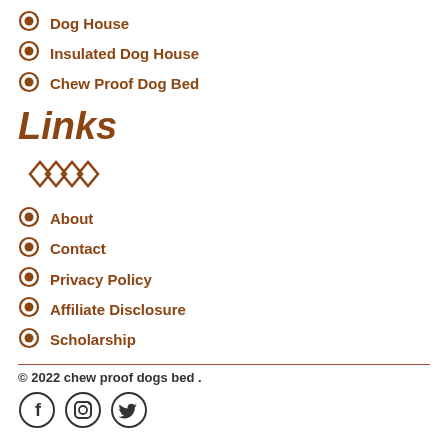Dog House
Insulated Dog House
Chew Proof Dog Bed
Links
[Figure (illustration): Decorative diamond/cross pattern icon in brown color]
About
Contact
Privacy Policy
Affiliate Disclosure
Scholarship
© 2022 chew proof dogs bed .
[Figure (illustration): Social media icons: Facebook, Instagram, Twitter]